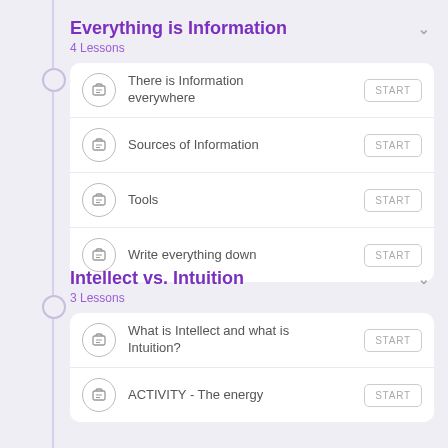Everything is Information
4 Lessons
There is Information everywhere
Sources of Information
Tools
Write everything down
Intellect vs. Intuition
3 Lessons
What is Intellect and what is Intuition?
ACTIVITY - The energy